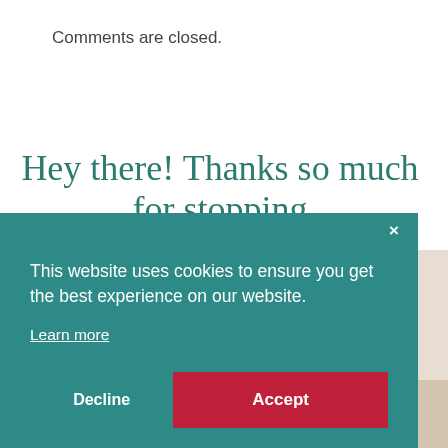Comments are closed.
Hey there! Thanks so much for stopping by.
[Figure (photo): Partial background photo showing a floor lamp and a person in the lower right corner, partially obscured by the cookie consent banner.]
This website uses cookies to ensure you get the best experience on our website.

Learn more
Decline
Accept